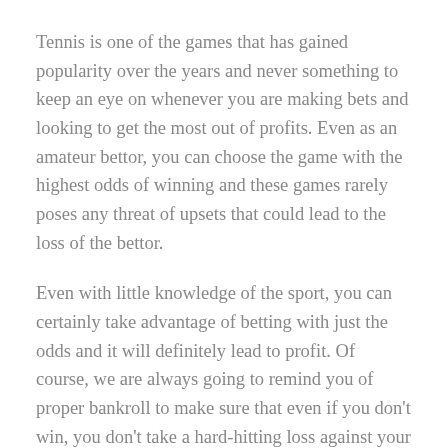Tennis is one of the games that has gained popularity over the years and never something to keep an eye on whenever you are making bets and looking to get the most out of profits. Even as an amateur bettor, you can choose the game with the highest odds of winning and these games rarely poses any threat of upsets that could lead to the loss of the bettor.
Even with little knowledge of the sport, you can certainly take advantage of betting with just the odds and it will definitely lead to profit. Of course, we are always going to remind you of proper bankroll to make sure that even if you don't win, you don't take a hard-hitting loss against your finance as well.